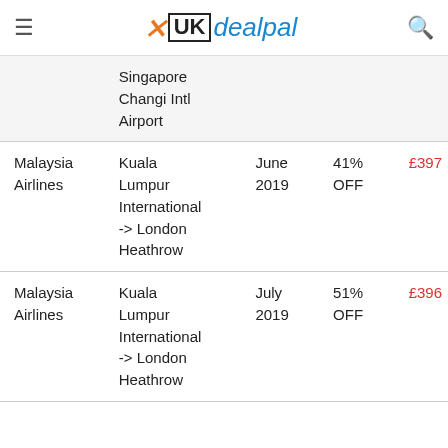UKdealpal
| Airline | Route | Month | Discount | Price |
| --- | --- | --- | --- | --- |
|  | Singapore Changi Intl Airport |  |  |  |
| Malaysia Airlines | Kuala Lumpur International -> London Heathrow | June 2019 | 41% OFF | £397 |
| Malaysia Airlines | Kuala Lumpur International -> London Heathrow | July 2019 | 51% OFF | £396 |